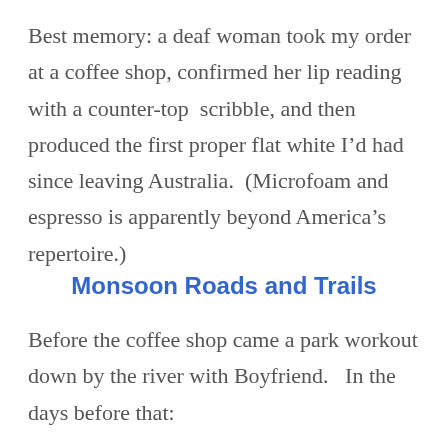Best memory: a deaf woman took my order at a coffee shop, confirmed her lip reading with a counter-top  scribble, and then produced the first proper flat white I’d had since leaving Australia.  (Microfoam and espresso is apparently beyond America’s repertoire.)
Monsoon Roads and Trails
Before the coffee shop came a park workout down by the river with Boyfriend.   In the days before that: